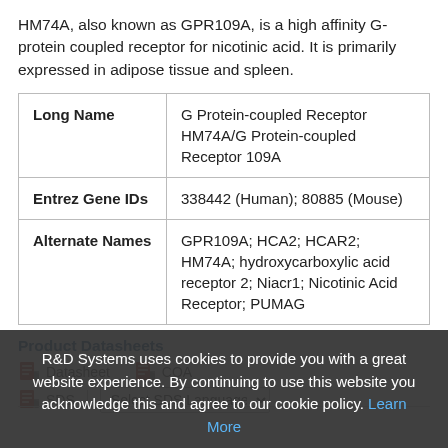HM74A, also known as GPR109A, is a high affinity G-protein coupled receptor for nicotinic acid. It is primarily expressed in adipose tissue and spleen.
| Long Name | G Protein-coupled Receptor HM74A/G Protein-coupled Receptor 109A |
| Entrez Gene IDs | 338442 (Human); 80885 (Mouse) |
| Alternate Names | GPR109A; HCA2; HCAR2; HM74A; hydroxycarboxylic acid receptor 2; Niacr1; Nicotinic Acid Receptor; PUMAG |
Product Datasheets
Datasheet | COA
SDS | Select SDS Language
R&D Systems uses cookies to provide you with a great website experience. By continuing to use this website you acknowledge this and agree to our cookie policy. Learn More